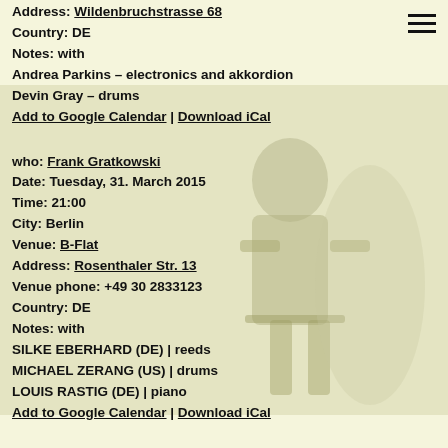Address: Wildenbruchstrasse 68
Country: DE
Notes: with
Andrea Parkins – electronics and akkordion
Devin Gray – drums
Add to Google Calendar | Download iCal
who: Frank Gratkowski
Date: Tuesday, 31. March 2015
Time: 21:00
City: Berlin
Venue: B-Flat
Address: Rosenthaler Str. 13
Venue phone: +49 30 2833123
Country: DE
Notes: with
SILKE EBERHARD (DE) | reeds
MICHAEL ZERANG (US) | drums
LOUIS RASTIG (DE) | piano
Add to Google Calendar | Download iCal
[Figure (photo): Faded background photo of a musician (Frank Gratkowski) seated with an instrument, shown in muted olive/cream tones]